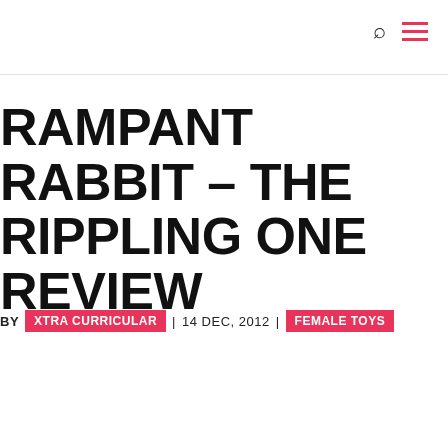RAMPANT RABBIT – THE RIPPLING ONE REVIEW
BY XTRA CURRICULAR | 14 DEC, 2012 | FEMALE TOYS